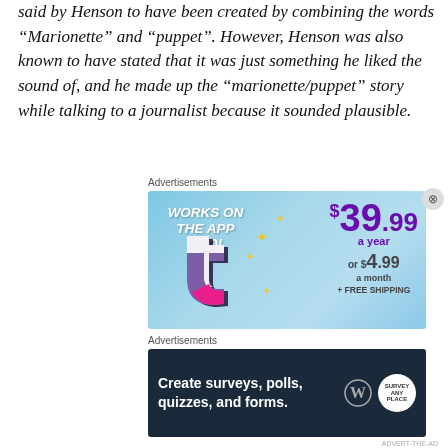said by Henson to have been created by combining the words “Marionette” and “puppet”. However, Henson was also known to have stated that it was just something he liked the sound of, and he made up the “marionette/puppet” story while talking to a journalist because it sounded plausible.
Advertisements
[Figure (other): Tumblr advertisement showing a pink/purple T logo with sparkles on a blue background, text: WORKS ON THE APP TOO! $39.99 a year or $4.99 a month + FREE SHIPPING]
Advertisements
[Figure (other): WordPress advertisement on dark background: Create surveys, polls, quizzes, and forms. With WordPress logo and Survey Anyplace badge.]